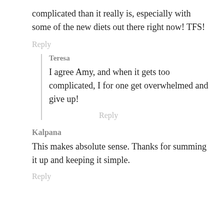complicated than it really is, especially with some of the new diets out there right now! TFS!
Reply
Teresa
I agree Amy, and when it gets too complicated, I for one get overwhelmed and give up!
Reply
Kalpana
This makes absolute sense. Thanks for summing it up and keeping it simple.
Reply